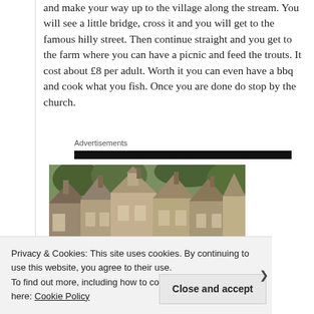and make your way up to the village along the stream. You will see a little bridge, cross it and you will get to the famous hilly street. Then continue straight and you get to the farm where you can have a picnic and feed the trouts. It cost about £8 per adult. Worth it you can even have a bbq and cook what you fish. Once you are done do stop by the church.
Advertisements
[Figure (photo): Photograph of traditional Cotswold stone cottages with steep gabled roofs surrounded by trees and greenery]
Privacy & Cookies: This site uses cookies. By continuing to use this website, you agree to their use.
To find out more, including how to control cookies, see here: Cookie Policy
Close and accept